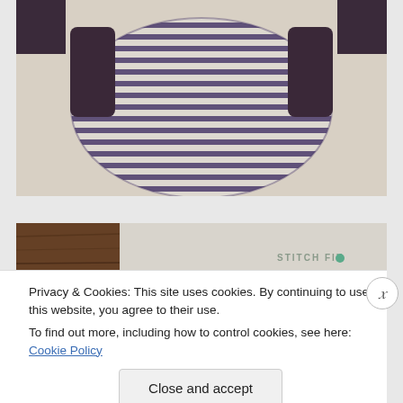[Figure (photo): A purple and white horizontally striped knitted garment (appears to be a baby romper/onesie) hanging against a light background, with dark sleeves visible at top.]
[Figure (photo): Partial view of a second image showing brown textured material on the left and a Stitch Fix branded card/packaging on the right with teal logo dot.]
Privacy & Cookies: This site uses cookies. By continuing to use this website, you agree to their use.
To find out more, including how to control cookies, see here: Cookie Policy
Close and accept